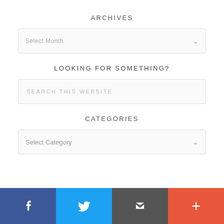ARCHIVES
[Figure (screenshot): Dropdown widget showing 'Select Month' placeholder with a down chevron arrow]
LOOKING FOR SOMETHING?
[Figure (screenshot): Search input box with placeholder text 'SEARCH THIS WEBSITE']
CATEGORIES
[Figure (screenshot): Dropdown widget showing 'Select Category' placeholder with a down chevron arrow]
[Figure (infographic): Social media footer bar with four buttons: Facebook (blue), Twitter (light blue), Email (dark gray), and Plus/more (red-orange)]